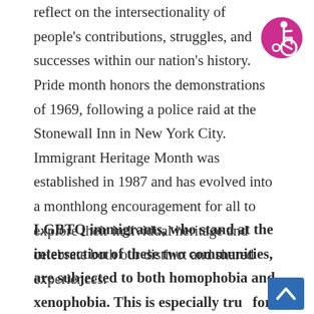reflect on the intersectionality of people's contributions, struggles, and successes within our nation's history. Pride month honors the demonstrations of 1969, following a police raid at the Stonewall Inn in New York City. Immigrant Heritage Month was established in 1987 and has evolved into a monthlong encouragement for all to explore their individual heritage and celebrate both our distinct and shared experiences.
[Figure (illustration): Circular accessibility icon — white wheelchair user symbol on magenta/pink background with white border]
LGBTQ immigrants, who stand at the intersection of these two communities, are subjected to both homophobia and xenophobia. This is especially true for transgender female immigrants, who are detained
[Figure (other): Blue back-to-top button with white upward chevron arrow]